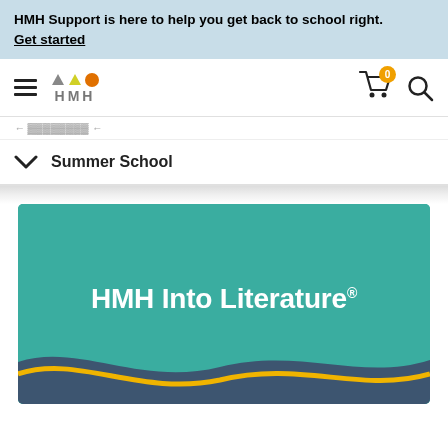HMH Support is here to help you get back to school right. Get started
[Figure (logo): HMH logo with hamburger menu, shopping cart with badge showing 0, and search icon]
Summer School
[Figure (illustration): HMH Into Literature product card with teal background and wave design at the bottom]